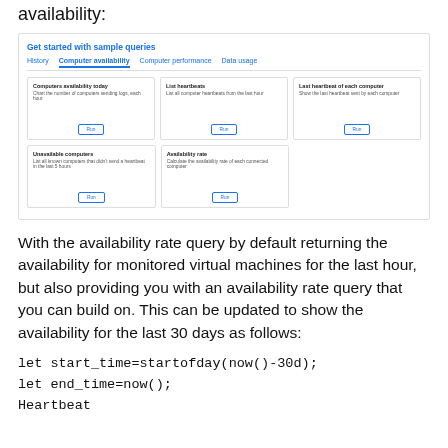availability:
[Figure (screenshot): Screenshot showing 'Get started with sample queries' panel with tabs: History, Computer availability (active), Computer performance, Data usage. Five query cards: 'Computers availability today', 'List heartbeats', 'Last heartbeat of each computer', 'Unavailable computers', 'Availability rate', each with a Run button.]
With the availability rate query by default returning the availability for monitored virtual machines for the last hour, but also providing you with an availability rate query that you can build on. This can be updated to show the availability for the last 30 days as follows: